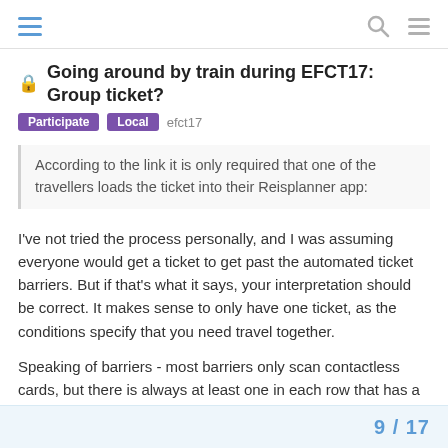[hamburger menu] [search] [menu]
Going around by train during EFCT17: Group ticket?
Participate  Local  efct17
According to the link it is only required that one of the travellers loads the ticket into their Reisplanner app:
I've not tried the process personally, and I was assuming everyone would get a ticket to get past the automated ticket barriers. But if that's what it says, your interpretation should be correct. It makes sense to only have one ticket, as the conditions specify that you need travel together.
Speaking of barriers - most barriers only scan contactless cards, but there is always at least one in each row that has a little glass window to scan printed tickets. For Amsterdam and The Hague the barriers may not be in operation.
9 / 17